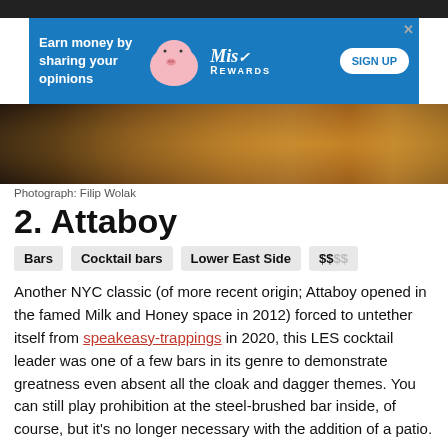[Figure (photo): Advertisement banner with blue background showing a pig mascot and MisRewards logo with text 'Earn money by sharing your opinions' and a 'SIGN UP' button]
[Figure (photo): Cropped photo of cocktail drinks at a bar, showing glasses and a copper/amber colored cocktail]
Photograph: Filip Wolak
2. Attaboy
Bars  Cocktail bars  Lower East Side  $$$$
Another NYC classic (of more recent origin; Attaboy opened in the famed Milk and Honey space in 2012) forced to untether itself from speakeasy-trappings in 2020, this LES cocktail leader was one of a few bars in its genre to demonstrate greatness even absent all the cloak and dagger themes. You can still play prohibition at the steel-brushed bar inside, of course, but it's no longer necessary with the addition of a patio.